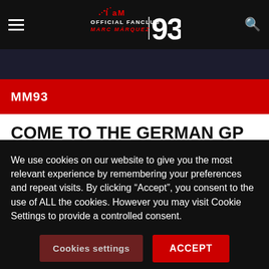[Figure (screenshot): IaM93 Official Fanclub Marc Marquez website header with logo, hamburger menu, and search icon on black background]
MM93
COME TO THE GERMAN GP AND GET TWO MM93 OAKLEY!
Come to the German Grand Prix and enter the raffle of amazing prizes! If you have a ticket for
We use cookies on our website to give you the most relevant experience by remembering your preferences and repeat visits. By clicking “Accept”, you consent to the use of ALL the cookies. However you may visit Cookie Settings to provide a controlled consent.